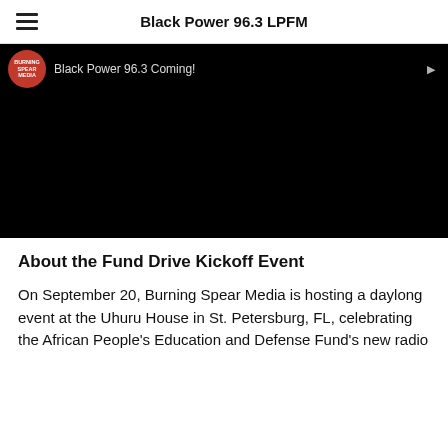Black Power 96.3 LPFM
[Figure (screenshot): Video player screenshot showing a dark/black frame with a red circular logo for Burning Spear Media in the top-left corner, text 'Black Power 96.3 Coming!' partially visible at the top, and a small play button icon in the top-right corner.]
About the Fund Drive Kickoff Event
On September 20, Burning Spear Media is hosting a daylong event at the Uhuru House in St. Petersburg, FL, celebrating the African People's Education and Defense Fund's new radio